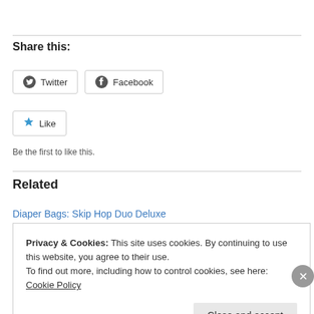Share this:
Twitter   Facebook
Like
Be the first to like this.
Related
Diaper Bags: Skip Hop Duo Deluxe
Privacy & Cookies: This site uses cookies. By continuing to use this website, you agree to their use.
To find out more, including how to control cookies, see here: Cookie Policy
Close and accept